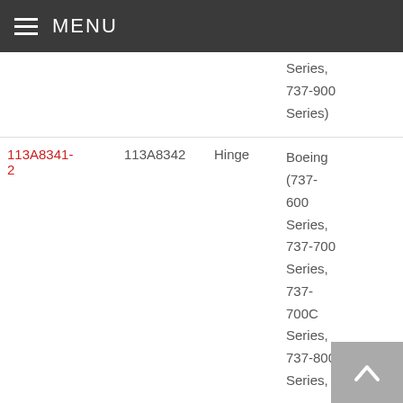MENU
| Part Number | Alternate PN | Type | Application |
| --- | --- | --- | --- |
|  |  |  | Series, 737-900 Series) |
| 113A8341-2 | 113A8342 | Hinge | Boeing (737-600 Series, 737-700 Series, 737-700C Series, 737-800 Series, |